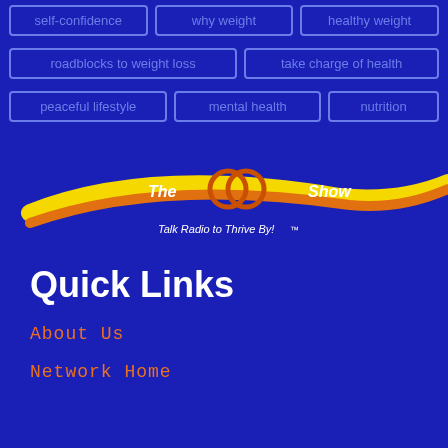self-confidence
why weight
healthy weight
roadblocks to weight loss
take charge of health
peaceful lifestyle
mental health
nutrition
[Figure (logo): The Dr. show logo - Talk Radio to Thrive By! with swoosh design in yellow and orange]
Quick Links
About Us
Network Home